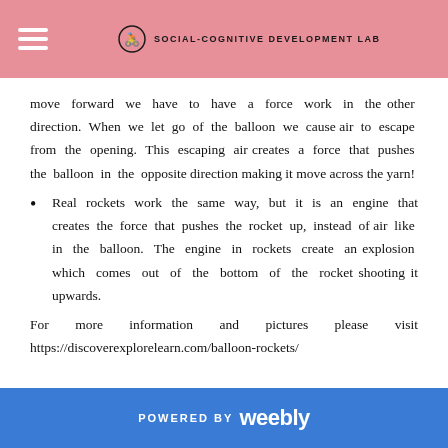SOCIAL-COGNITIVE DEVELOPMENT LAB
move forward we have to have a force work in the other direction. When we let go of the balloon we cause air to escape from the opening. This escaping air creates a force that pushes the balloon in the opposite direction making it move across the yarn!
Real rockets work the same way, but it is an engine that creates the force that pushes the rocket up, instead of air like in the balloon. The engine in rockets create an explosion which comes out of the bottom of the rocket shooting it upwards.
For more information and pictures please visit https://discoverexplorelearn.com/balloon-rockets/
POWERED BY weebly